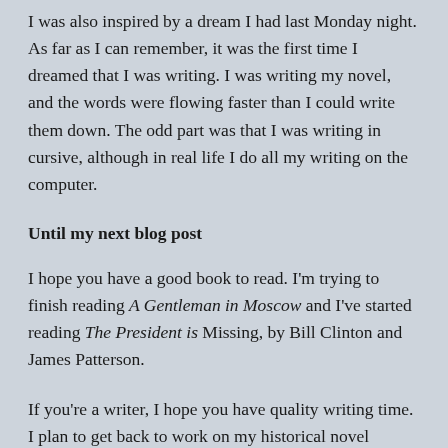I was also inspired by a dream I had last Monday night. As far as I can remember, it was the first time I dreamed that I was writing. I was writing my novel, and the words were flowing faster than I could write them down. The odd part was that I was writing in cursive, although in real life I do all my writing on the computer.
Until my next blog post
I hope you have a good book to read. I'm trying to finish reading A Gentleman in Moscow and I've started reading The President is Missing, by Bill Clinton and James Patterson.
If you're a writer, I hope you have quality writing time. I plan to get back to work on my historical novel